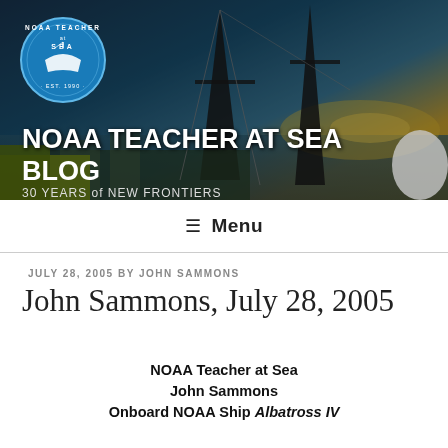[Figure (photo): NOAA ship at dock with crane structures and equipment visible against a sunset sky with yellow and blue tones. NOAA Teacher at Sea logo circle in upper left.]
NOAA TEACHER AT SEA BLOG
30 YEARS of NEW FRONTIERS
≡ Menu
JULY 28, 2005 BY JOHN SAMMONS
John Sammons, July 28, 2005
NOAA Teacher at Sea
John Sammons
Onboard NOAA Ship Albatross IV